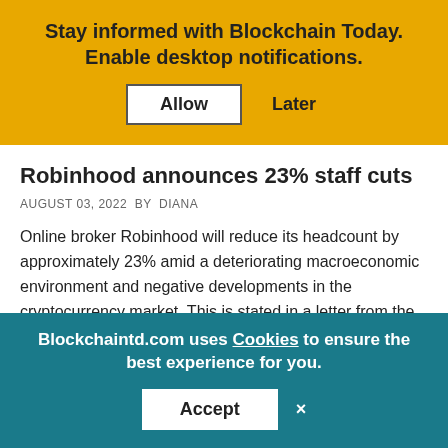Stay informed with Blockchain Today. Enable desktop notifications.
Allow  Later
Robinhood announces 23% staff cuts
AUGUST 03, 2022  BY  DIANA
Online broker Robinhood will reduce its headcount by approximately 23% amid a deteriorating macroeconomic environment and negative developments in the cryptocurrency market. This is stated in a letter from the CEO of the company,...
Blockchaintd.com uses Cookies to ensure the best experience for you.
Accept  ×